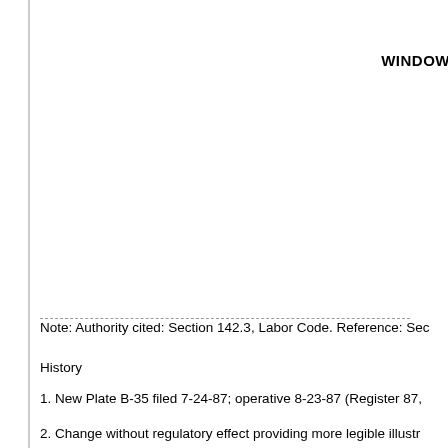WINDOW
Note: Authority cited: Section 142.3, Labor Code. Reference: Sec
History
1. New Plate B-35 filed 7-24-87; operative 8-23-87 (Register 87,
2. Change without regulatory effect providing more legible illustr